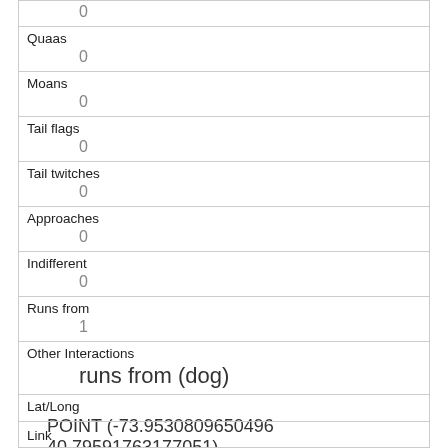|  | 0 |
| Quaas | 0 |
| Moans | 0 |
| Tail flags | 0 |
| Tail twitches | 0 |
| Approaches | 0 |
| Indifferent | 0 |
| Runs from | 1 |
| Other Interactions | runs from (dog) |
| Lat/Long | POINT (-73.9530809650496 40.79591763177051) |
| Link |  |